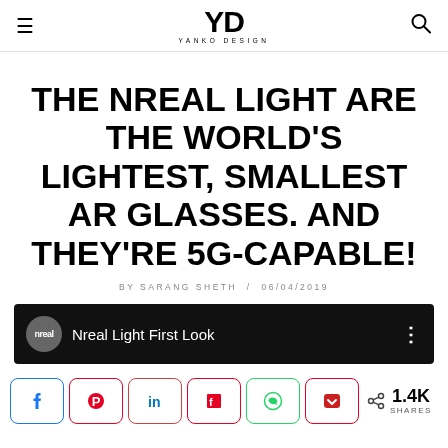YD YANKO DESIGN
THE NREAL LIGHT ARE THE WORLD'S LIGHTEST, SMALLEST AR GLASSES. AND THEY'RE 5G-CAPABLE!
BY SARANG SHETH / 06/04/2019
[Figure (screenshot): Video thumbnail with dark background showing nreal logo and text 'Nreal Light First Look']
< 1.4K SHARES